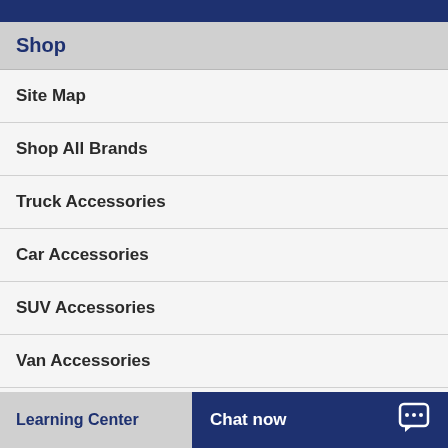Shop
Site Map
Shop All Brands
Truck Accessories
Car Accessories
SUV Accessories
Van Accessories
Shop By Vehicle Make
Learning Center  Chat now